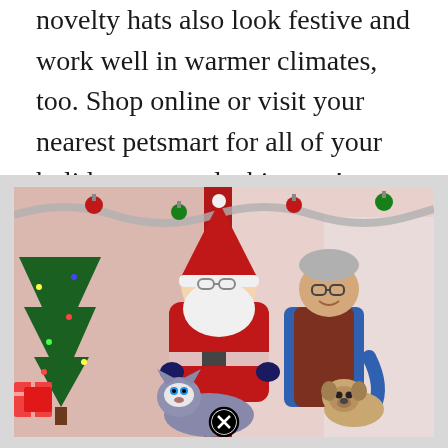novelty hats also look festive and work well in warmer climates, too. Shop online or visit your nearest petsmart for all of your holiday pet needs this year!
[Figure (photo): A Santa Claus sitting with a person (wearing glasses, blue sweater vest), a Husky dog and a Pug dog, posed in front of a Christmas backdrop with a tree, gifts, ornaments, and garland. A close/remove button (circled X) appears at the bottom center of the photo.]